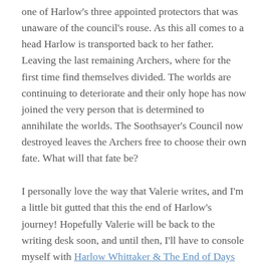one of Harlow's three appointed protectors that was unaware of the council's rouse. As this all comes to a head Harlow is transported back to her father. Leaving the last remaining Archers, where for the first time find themselves divided. The worlds are continuing to deteriorate and their only hope has now joined the very person that is determined to annihilate the worlds. The Soothsayer's Council now destroyed leaves the Archers free to choose their own fate. What will that fate be?
I personally love the way that Valerie writes, and I'm a little bit gutted that this the end of Harlow's journey! Hopefully Valerie will be back to the writing desk soon, and until then, I'll have to console myself with Harlow Whittaker & The End of Days...